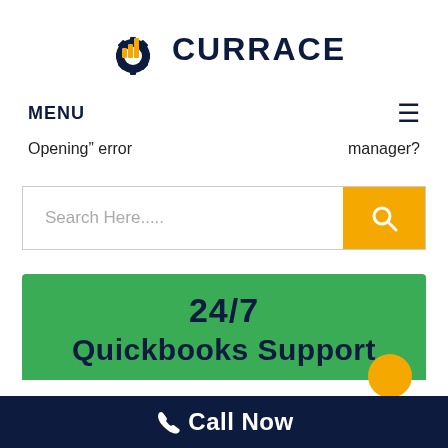[Figure (logo): Currace logo with gear and bar chart icon in navy and orange, with text CURRACE in dark navy bold]
MENU
Opening" error    manager?
[Figure (screenshot): Search bar with placeholder text 'Search Here.....' and an orange search button with magnifying glass icon]
24/7
Quickbooks Support
Call Now